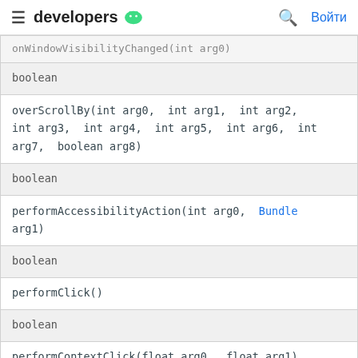developers [android icon] | Войти
| onWindowVisibilityChanged(int arg0) |
| boolean |
| overScrollBy(int arg0, int arg1, int arg2, int arg3, int arg4, int arg5, int arg6, int arg7, boolean arg8) |
| boolean |
| performAccessibilityAction(int arg0, Bundle arg1) |
| boolean |
| performClick() |
| boolean |
| performContextClick(float arg0, float arg1) |
| boolean |
| performContextClick() |
| boolean |